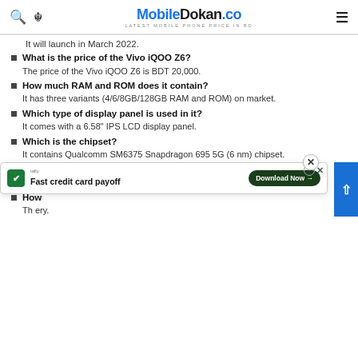MobileDokan.co — LATEST MOBILE PHONE PRICE IN BD
It will launch in March 2022.
What is the price of the Vivo iQOO Z6?
The price of the Vivo iQOO Z6 is BDT 20,000.
How much RAM and ROM does it contain?
It has three variants (4/6/8GB/128GB RAM and ROM) on market.
Which type of display panel is used in it?
It comes with a 6.58" IPS LCD display panel.
Which is the chipset?
It contains Qualcomm SM6375 Snapdragon 695 5G (6 nm) chipset.
Does it support 5G network?
Yes. It supports a 5G network with 2G / 3G / 4G
How
Th ery.
[Figure (screenshot): Advertisement overlay: Tally app ad with 'Fast credit card payoff' text and 'Download Now' button, with close buttons.]